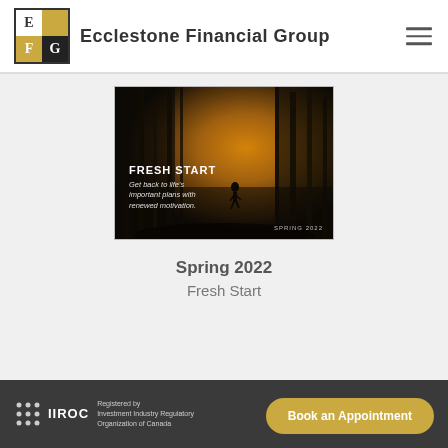[Figure (logo): Ecclestone Financial Group logo: 2x2 grid with E, gold square, F, G cells]
Ecclestone Financial Group
[Figure (photo): Newsletter cover image for Spring 2022 Fresh Start: dark forest path with golden light and a lone runner. Text overlay: FRESH START — Get back to life's important plans with renewed motivation. SPRING 2022]
Spring 2022
Fresh Start
[Figure (logo): IIROC logo with dot pattern and text]
Registered by Investment Industry Regulatory Organization of Canada
Book an Appointment